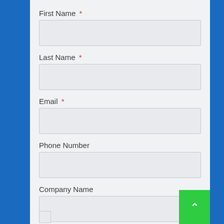First Name *
Last Name *
Email *
Phone Number
Company Name